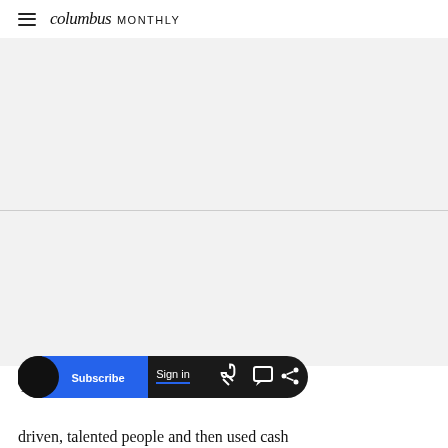columbus MONTHLY
[Figure (other): Gray advertisement placeholder block (top)]
[Figure (other): Gray advertisement placeholder block (bottom)]
Tariq Tarey
[Figure (screenshot): Bottom navigation toolbar with Subscribe button (blue), Sign in link, and icons for link, comment, and share on dark rounded bar]
driven, talented people and then used cash